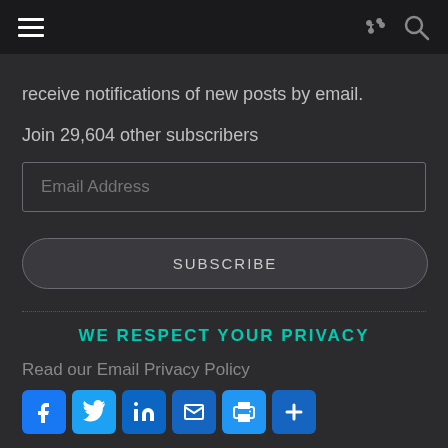receive notifications of new posts by email.
Join 29,604 other subscribers
Email Address
SUBSCRIBE
WE RESPECT YOUR PRIVACY
Read our Email Privacy Policy
[Figure (infographic): Social sharing icons: Facebook, Twitter, LinkedIn, Email, Print, Plus]